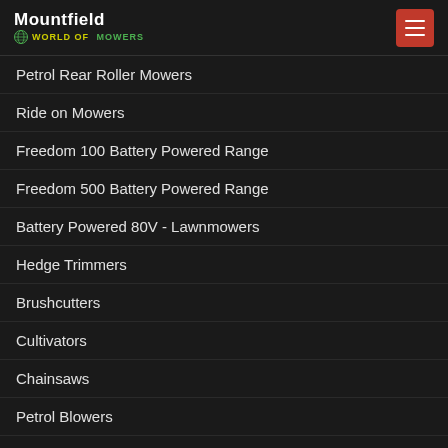[Figure (logo): Mountfield World of Mowers logo with globe icon]
Petrol Rear Roller Mowers
Ride on Mowers
Freedom 100 Battery Powered Range
Freedom 500 Battery Powered Range
Battery Powered 80V - Lawnmowers
Hedge Trimmers
Brushcutters
Cultivators
Chainsaws
Petrol Blowers
Ride on Accessories